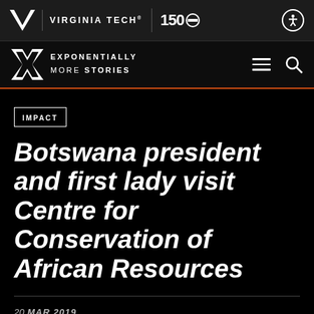VIRGINIA TECH® | 150 [anniversary logo]
EXPONENTIALLY MORE STORIES
IMPACT
Botswana president and first lady visit Centre for Conservation of African Resources
20 MAR 2019